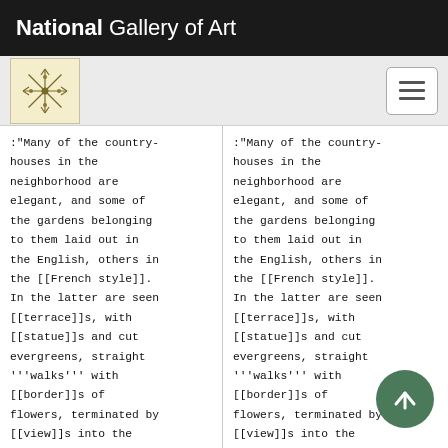National Gallery of Art
:"Many of the country-houses in the neighborhood are elegant, and some of the gardens belonging to them laid out in the English, others in the [[French style]]. In the latter are seen [[terrace]]s, with [[statue]]s and cut evergreens, straight '''walks''' with [[border]]s of flowers, terminated by [[view]]s into the wild forest, the
:"Many of the country-houses in the neighborhood are elegant, and some of the gardens belonging to them laid out in the English, others in the [[French style]]. In the latter are seen [[terrace]]s, with [[statue]]s and cut evergreens, straight '''walks''' with [[border]]s of flowers, terminated by [[view]]s into the wild forest, the